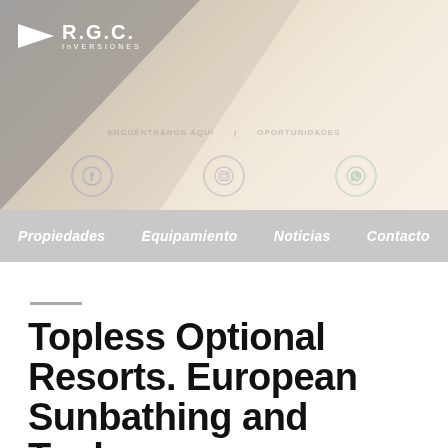[Figure (logo): R.G.C. Inversiones logo with white triangle arrow and white text on gradient background with social media icons (Facebook, Instagram, WhatsApp)]
Propiedades   Equipamiento   Noticias   Contacto
Topless Optional Resorts. European Sunbathing and Topless